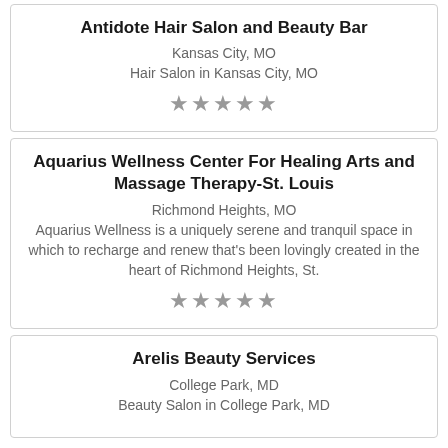Antidote Hair Salon and Beauty Bar
Kansas City, MO
Hair Salon in Kansas City, MO
[Figure (other): Five grey stars rating]
Aquarius Wellness Center For Healing Arts and Massage Therapy-St. Louis
Richmond Heights, MO
Aquarius Wellness is a uniquely serene and tranquil space in which to recharge and renew that's been lovingly created in the heart of Richmond Heights, St.
[Figure (other): Five grey stars rating]
Arelis Beauty Services
College Park, MD
Beauty Salon in College Park, MD